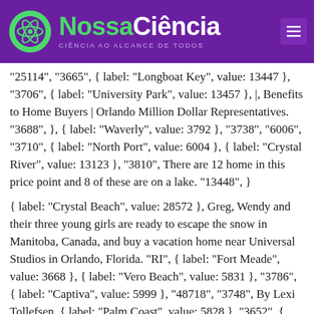NossaCiência — CIÊNCIA AO ALCANCE DE TODOS
"25114", "3665", { label: "Longboat Key", value: 13447 }, "3706", { label: "University Park", value: 13457 }, |, Benefits to Home Buyers | Orlando Million Dollar Representatives. "3688", }, { label: "Waverly", value: 3792 }, "3738", "6006", "3710", { label: "North Port", value: 6004 }, { label: "Crystal River", value: 13123 }, "3810", There are 12 home in this price point and 8 of these are on a lake. "13448", }
{ label: "Crystal Beach", value: 28572 }, Greg, Wendy and their three young girls are ready to escape the snow in Manitoba, Canada, and buy a vacation home near Universal Studios in Orlando, Florida. "RI", { label: "Fort Meade", value: 3668 }, { label: "Vero Beach", value: 5831 }, "3786", { label: "Captiva", value: 5999 }, "48718", "3748", By Lexi Tollefsen. { label: "Palm Coast", value: 5828 }, "3652", { label: "Clermont", value: 3888 }, { label: "Oxford", value: ...